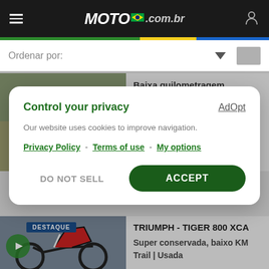MOTO.com.br
Ordenar por:
[Figure (photo): Motorcycle listing photo showing a dark adventure motorcycle parked outdoors with trees in background. MR MOTO watermark visible.]
Baixa quilometragem
Naked | Usada
Aceita Troca
2017
Control your privacy
Our website uses cookies to improve navigation.
Privacy Policy - Terms of use - My options
DO NOT SELL
ACCEPT
[Figure (photo): Motorcycle listing photo with DESTAQUE badge, showing a red/white motorcycle.]
TRIUMPH - TIGER 800 XCA
Super conservada, baixo KM
Trail | Usada